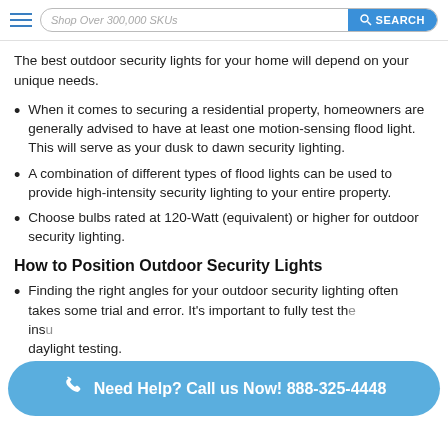Shop Over 300,000 SKUs  SEARCH
The best outdoor security lights for your home will depend on your unique needs.
When it comes to securing a residential property, homeowners are generally advised to have at least one motion-sensing flood light. This will serve as your dusk to dawn security lighting.
A combination of different types of flood lights can be used to provide high-intensity security lighting to your entire property.
Choose bulbs rated at 120-Watt (equivalent) or higher for outdoor security lighting.
How to Position Outdoor Security Lights
Finding the right angles for your outdoor security lighting often takes some trial and error. It's important to fully test th... insu... daylight testing.
Need Help? Call us Now! 888-325-4448